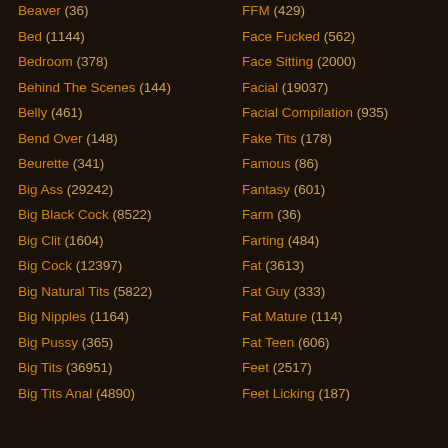Beaver (36)
Bed (1144)
Bedroom (378)
Behind The Scenes (144)
Belly (461)
Bend Over (148)
Beurette (341)
Big Ass (29242)
Big Black Cock (8522)
Big Clit (1604)
Big Cock (12397)
Big Natural Tits (5822)
Big Nipples (1164)
Big Pussy (365)
Big Tits (36951)
Big Tits Anal (4890)
FFM (429)
Face Fucked (562)
Face Sitting (2000)
Facial (19037)
Facial Compilation (935)
Fake Tits (178)
Famous (86)
Fantasy (601)
Farm (36)
Farting (484)
Fat (3613)
Fat Guy (333)
Fat Mature (114)
Fat Teen (606)
Feet (2517)
Feet Licking (187)